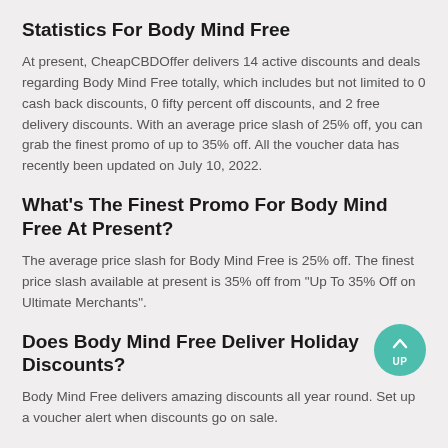Statistics For Body Mind Free
At present, CheapCBDOffer delivers 14 active discounts and deals regarding Body Mind Free totally, which includes but not limited to 0 cash back discounts, 0 fifty percent off discounts, and 2 free delivery discounts. With an average price slash of 25% off, you can grab the finest promo of up to 35% off. All the voucher data has recently been updated on July 10, 2022.
What's The Finest Promo For Body Mind Free At Present?
The average price slash for Body Mind Free is 25% off. The finest price slash available at present is 35% off from "Up To 35% Off on Ultimate Merchants".
Does Body Mind Free Deliver Holiday Discounts?
Body Mind Free delivers amazing discounts all year round. Set up a voucher alert when discounts go on sale.